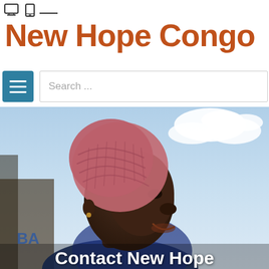device icons (monitor and mobile)
New Hope Congo
[Figure (other): Hamburger menu button (teal/blue) and search input field with placeholder text 'Search ...']
[Figure (photo): Photo of a smiling African woman wearing a pink crocheted headscarf, looking upward, with a blue sky and clouds in the background. Text overlay at the bottom reads 'Contact New Hope']